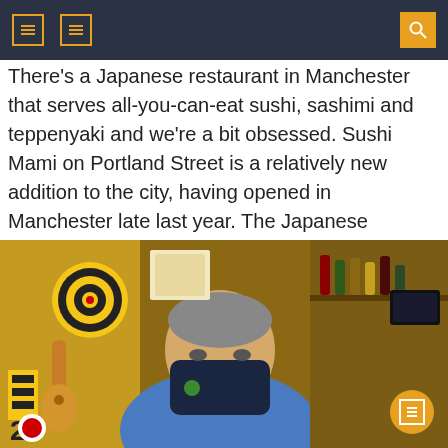navigation header with icons
There's a Japanese restaurant in Manchester that serves all-you-can-eat sushi, sashimi and teppenyaki and we're a bit obsessed. Sushi Mami on Portland Street is a relatively new addition to the city, having opened in Manchester late last year. The Japanese restaurant serves poke bowls, bento boxes, and a full a la carte menu, but one [...]
[Figure (photo): A man wearing a blue face mask and blue t-shirt standing in front of a wall decorated with yellow and black memorabilia, a ukulele, a dartboard with a smiley face logo, and shelves of bottles in a Japanese restaurant interior.]